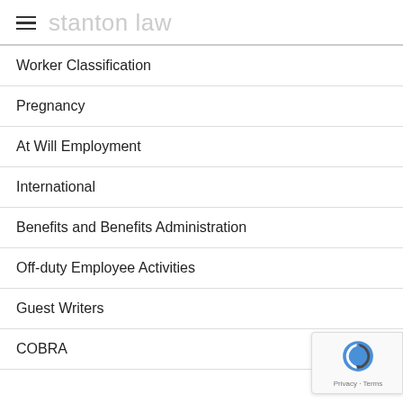stanton law
Worker Classification
Pregnancy
At Will Employment
International
Benefits and Benefits Administration
Off-duty Employee Activities
Guest Writers
COBRA